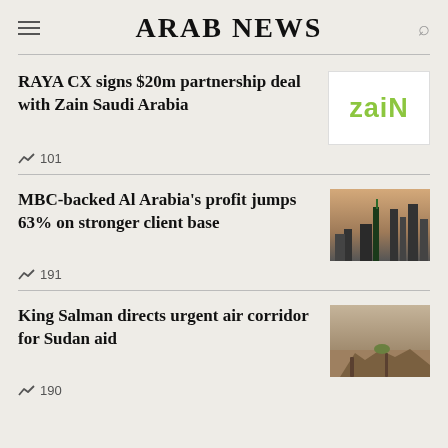ARAB NEWS
RAYA CX signs $20m partnership deal with Zain Saudi Arabia
[Figure (logo): Zain logo in green on white background]
101
MBC-backed Al Arabia's profit jumps 63% on stronger client base
[Figure (photo): City skyline with billboard at dusk]
191
King Salman directs urgent air corridor for Sudan aid
[Figure (photo): Person among rubble in Sudan]
190